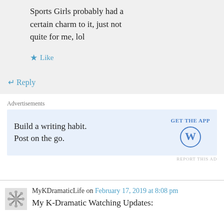Sports Girls probably had a certain charm to it, just not quite for me, lol
★ Like
↵ Reply
Advertisements
[Figure (other): WordPress advertisement: Build a writing habit. Post on the go. GET THE APP with WordPress logo]
REPORT THIS AD
MyKDramaticLife on February 17, 2019 at 8:08 pm
My K-Dramatic Watching Updates:
WATCHING:
*Witch's Court (8/10) – Waiting for the right mood to watch the finale. And get ready for the